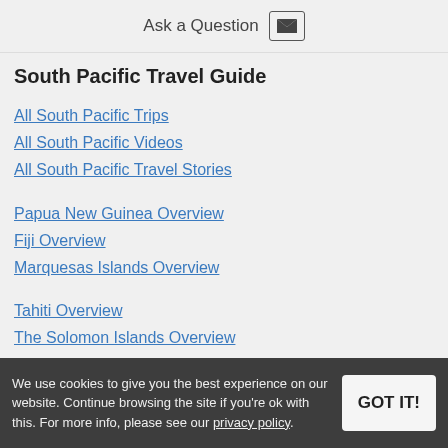Ask a Question
South Pacific Travel Guide
All South Pacific Trips
All South Pacific Videos
All South Pacific Travel Stories
Papua New Guinea Overview
Fiji Overview
Marquesas Islands Overview
Tahiti Overview
The Solomon Islands Overview
When to Visit the South Pacific
We use cookies to give you the best experience on our website. Continue browsing the site if you're ok with this. For more info, please see our privacy policy.
Favorite South Pacific All Trips